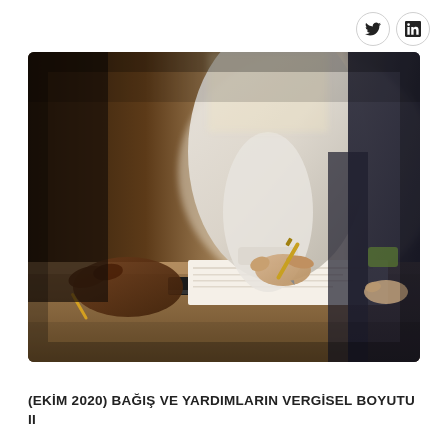[Figure (photo): Two people sitting at a desk: one person in a white shirt signing a document with a gold pen, another person nearby also holding a pen, dark background with warm lighting, professional setting.]
(EKİM 2020) BAĞIŞ VE YARDIMLARIN VERGİSEL BOYUTU II